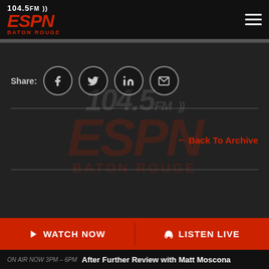104.5 FM ESPN Baton Rouge
[Figure (logo): 104.5 FM ESPN Baton Rouge watermark logo in background]
Share: [Facebook] [Twitter] [LinkedIn] [Email]
← Back To Archive
▷ WATCH NOW   🎧 LISTEN LIVE
ON AIR NOW 3PM – 6PM   After Further Review with Matt Moscona